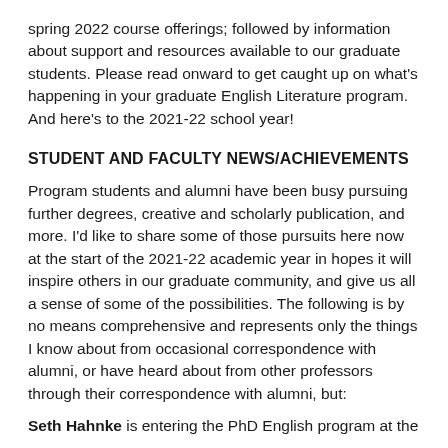spring 2022 course offerings; followed by information about support and resources available to our graduate students. Please read onward to get caught up on what's happening in your graduate English Literature program. And here's to the 2021-22 school year!
STUDENT AND FACULTY NEWS/ACHIEVEMENTS
Program students and alumni have been busy pursuing further degrees, creative and scholarly publication, and more. I'd like to share some of those pursuits here now at the start of the 2021-22 academic year in hopes it will inspire others in our graduate community, and give us all a sense of some of the possibilities. The following is by no means comprehensive and represents only the things I know about from occasional correspondence with alumni, or have heard about from other professors through their correspondence with alumni, but:
Seth Hahnke is entering the PhD English program at the